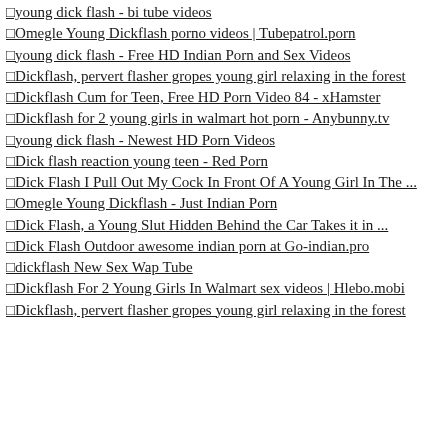□young dick flash - bi tube videos
□Omegle Young Dickflash porno videos | Tubepatrol.porn
□young dick flash - Free HD Indian Porn and Sex Videos
□Dickflash, pervert flasher gropes young girl relaxing in the forest
□Dickflash Cum for Teen, Free HD Porn Video 84 - xHamster
□Dickflash for 2 young girls in walmart hot porn - Anybunny.tv
□young dick flash - Newest HD Porn Videos
□Dick flash reaction young teen - Red Porn
□Dick Flash I Pull Out My Cock In Front Of A Young Girl In The ...
□Omegle Young Dickflash - Just Indian Porn
□Dick Flash, a Young Slut Hidden Behind the Car Takes it in ...
□Dick Flash Outdoor awesome indian porn at Go-indian.pro
□dickflash New Sex Wap Tube
□Dickflash For 2 Young Girls In Walmart sex videos | Hlebo.mobi
□Dickflash, pervert flasher gropes young girl relaxing in the forest